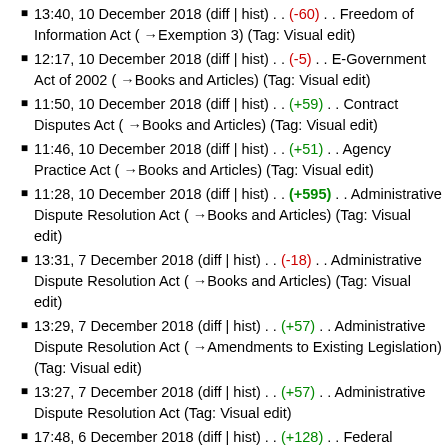13:40, 10 December 2018 (diff | hist) . . (-60) . . Freedom of Information Act (→Exemption 3) (Tag: Visual edit)
12:17, 10 December 2018 (diff | hist) . . (-5) . . E-Government Act of 2002 (→Books and Articles) (Tag: Visual edit)
11:50, 10 December 2018 (diff | hist) . . (+59) . . Contract Disputes Act (→Books and Articles) (Tag: Visual edit)
11:46, 10 December 2018 (diff | hist) . . (+51) . . Agency Practice Act (→Books and Articles) (Tag: Visual edit)
11:28, 10 December 2018 (diff | hist) . . (+595) . . Administrative Dispute Resolution Act (→Books and Articles) (Tag: Visual edit)
13:31, 7 December 2018 (diff | hist) . . (-18) . . Administrative Dispute Resolution Act (→Books and Articles) (Tag: Visual edit)
13:29, 7 December 2018 (diff | hist) . . (+57) . . Administrative Dispute Resolution Act (→Amendments to Existing Legislation) (Tag: Visual edit)
13:27, 7 December 2018 (diff | hist) . . (+57) . . Administrative Dispute Resolution Act (Tag: Visual edit)
17:48, 6 December 2018 (diff | hist) . . (+128) . . Federal Register Act (→Obtaining Federal Register Information) (Tag: Visual edit)
17:39, 6 December 2018 (diff | hist) . . (-60) . . Federal Advisory Committee Act (→Legislative History) (Tag: Visual edit)